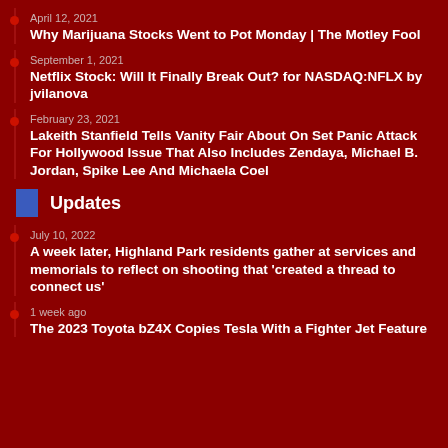April 12, 2021
Why Marijuana Stocks Went to Pot Monday | The Motley Fool
September 1, 2021
Netflix Stock: Will It Finally Break Out? for NASDAQ:NFLX by jvilanova
February 23, 2021
Lakeith Stanfield Tells Vanity Fair About On Set Panic Attack For Hollywood Issue That Also Includes Zendaya, Michael B. Jordan, Spike Lee And Michaela Coel
Updates
July 10, 2022
A week later, Highland Park residents gather at services and memorials to reflect on shooting that 'created a thread to connect us'
1 week ago
The 2023 Toyota bZ4X Copies Tesla With a Fighter Jet Feature